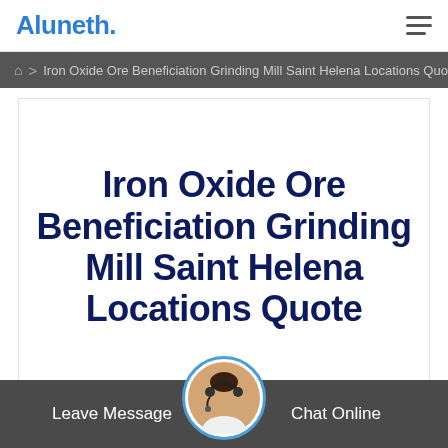Aluneth.
Home > Iron Oxide Ore Beneficiation Grinding Mill Saint Helena
Iron Oxide Ore Beneficiation Grinding Mill Saint Helena Locations Quote
Leave Message   Chat Online